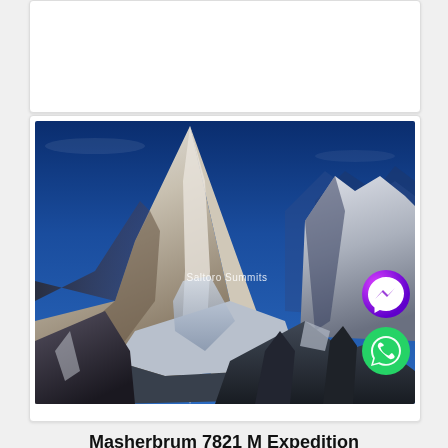[Figure (photo): Photograph of Masherbrum mountain (7821m) with snow-covered peaks against a deep blue sky. The Saltoro Summits watermark is visible in the center of the image. Facebook Messenger and WhatsApp icons overlay the lower-right of the image.]
Masherbrum 7821 M Expedition